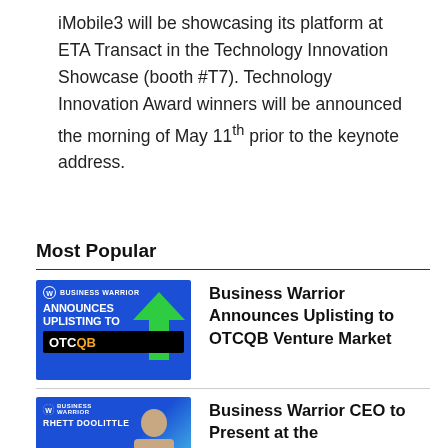iMobile3 will be showcasing its platform at ETA Transact in the Technology Innovation Showcase (booth #T7). Technology Innovation Award winners will be announced the morning of May 11th prior to the keynote address.
Most Popular
[Figure (illustration): Business Warrior announces uplisting to OTCQB thumbnail image with blue background and green arrow]
Business Warrior Announces Uplisting to OTCQB Venture Market
[Figure (photo): Business Warrior CEO Rhett Doolittle photo thumbnail with blue background]
Business Warrior CEO to Present at the